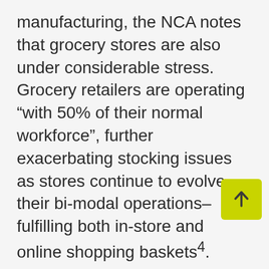manufacturing, the NCA notes that grocery stores are also under considerable stress. Grocery retailers are operating “with 50% of their normal workforce”, further exacerbating stocking issues as stores continue to evolve their bi-modal operations–fulfilling both in-store and online shopping baskets⁴.
Savvy digital marketers have a hack to bypass the out of stock risk for their brand in real time. An inventory aware path to cart circumvents this $15B industry is... With industry leading retailer integrations, solutions, inventory intelligence...